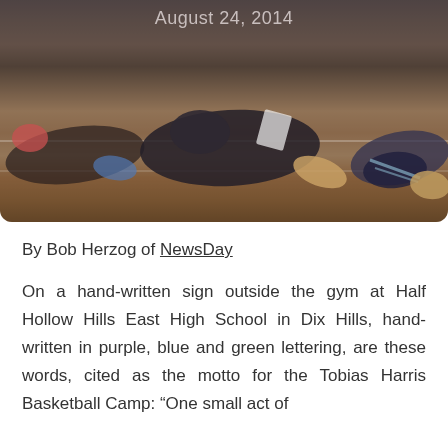[Figure (photo): Photo of people lying on a gym floor (basketball court with wooden floor and white lines), taken at Half Hollow Hills East High School. The date 'August 24, 2014' is overlaid at the top of the image.]
By Bob Herzog of NewsDay
On a hand-written sign outside the gym at Half Hollow Hills East High School in Dix Hills, hand-written in purple, blue and green lettering, are these words, cited as the motto for the Tobias Harris Basketball Camp: “One small act of